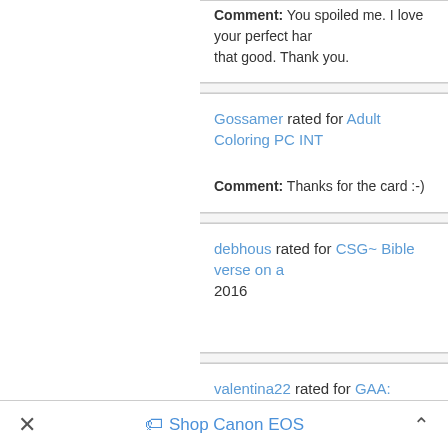Comment: You spoiled me. I love your perfect ha... that good. Thank you.
Gossamer rated for Adult Coloring PC INT...
Comment: Thanks for the card :-)
debhous rated for CSG~ Bible verse on a... 2016
valentina22 rated for GAA: Mexican Folk A...
Comment: Thanks for the detailed sugar skull. I lik...
cbzcando rated for July senders choice ato...
✕   🏷 Shop Canon EOS   ∧